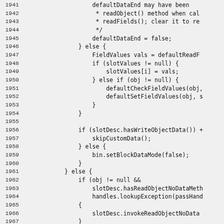Source code listing lines 1941-1971
1941     defaultDataEnd may have been
1942      * readObject() method when cal
1943      * readFields(); clear it to re
1944      */
1945      defaultDataEnd = false;
1946      } else {
1947           FieldValues vals = defaultReadF
1948           if (slotValues != null) {
1949                slotValues[i] = vals;
1950           } else if (obj != null) {
1951                defaultCheckFieldValues(obj,
1952                defaultSetFieldValues(obj, s
1953           }
1954      }
1955
1956           if (slotDesc.hasWriteObjectData()) +
1957                skipCustomData();
1958           } else {
1959                bin.setBlockDataMode(false);
1960           }
1961      } else {
1962           if (obj != null &&
1963                slotDesc.hasReadObjectNoDataMeth
1964                handles.lookupException(passHand
1965           {
1966                slotDesc.invokeReadObjectNoData
1967           }
1968      }
1969 }
1970
1971      if (obj != null && slotValues != null) {